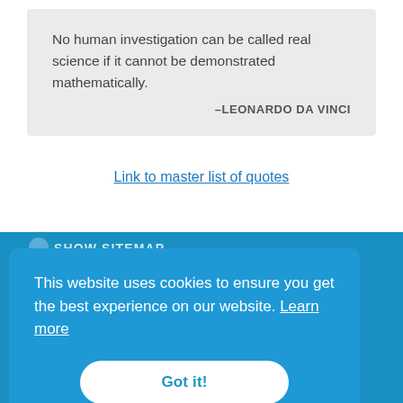No human investigation can be called real science if it cannot be demonstrated mathematically. –LEONARDO DA VINCI
Link to master list of quotes
SHOW SITEMAP
This website uses cookies to ensure you get the best experience on our website. Learn more
Got it!